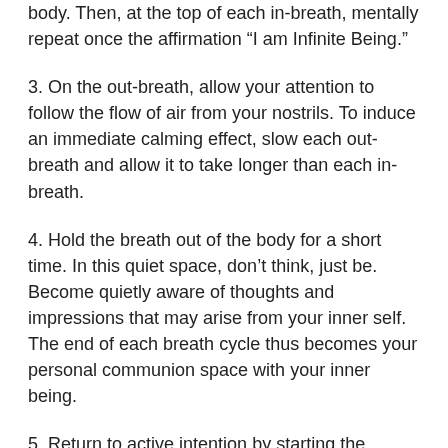body. Then, at the top of each in-breath, mentally repeat once the affirmation “I am Infinite Being.”
3. On the out-breath, allow your attention to follow the flow of air from your nostrils. To induce an immediate calming effect, slow each out-breath and allow it to take longer than each in-breath.
4. Hold the breath out of the body for a short time. In this quiet space, don’t think, just be. Become quietly aware of thoughts and impressions that may arise from your inner self. The end of each breath cycle thus becomes your personal communion space with your inner being.
5. Return to active intention by starting the breath cycle again at step 1.